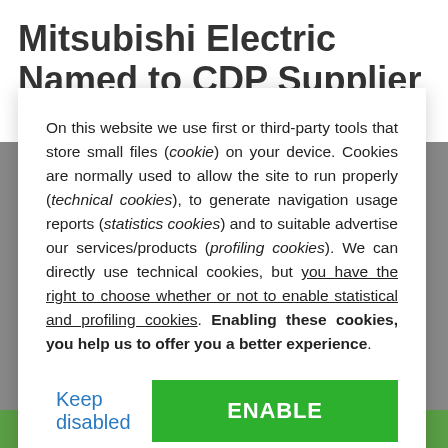Mitsubishi Electric Named to CDP Supplier Engagement
On this website we use first or third-party tools that store small files (cookie) on your device. Cookies are normally used to allow the site to run properly (technical cookies), to generate navigation usage reports (statistics cookies) and to suitable advertise our services/products (profiling cookies). We can directly use technical cookies, but you have the right to choose whether or not to enable statistical and profiling cookies. Enabling these cookies, you help us to offer you a better experience.
Keep disabled
ENABLE